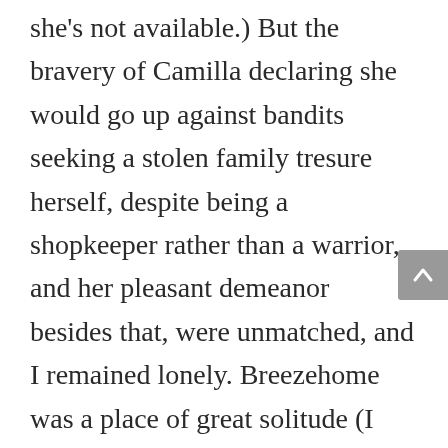she's not available.) But the bravery of Camilla declaring she would go up against bandits seeking a stolen family tresure herself, despite being a shopkeeper rather than a warrior, and her pleasant demeanor besides that, were unmatched, and I remained lonely. Breezehome was a place of great solitude (I could make a fabulous pun out of that if I tried), its only appeal the consistent entertainment of asking Lydia to carry stuff for me.

And then I purchased Proudspire Manor, and who should show up in my giant